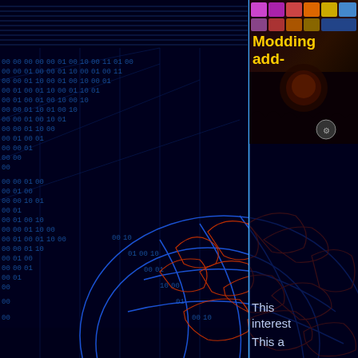[Figure (screenshot): Dark blue digital globe/world map with binary/grid data overlay on the left two-thirds. Blue grid lines, binary digits and map outlines in blue and red/orange. Right side has a vertical bright blue dividing line.]
[Figure (illustration): Top-right corner shows a game/software logo box: colorful squares at top, bold yellow 'Modding' and 'add-' text on dark background with an apocalyptic scene.]
This interest
This a